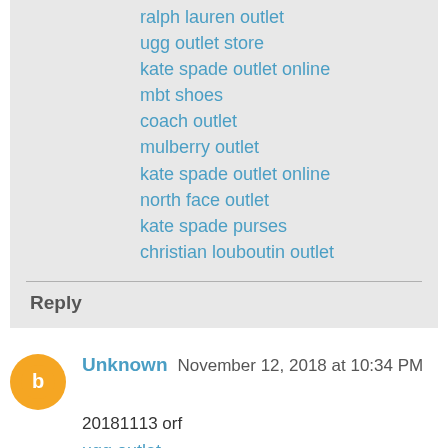ralph lauren outlet
ugg outlet store
kate spade outlet online
mbt shoes
coach outlet
mulberry outlet
kate spade outlet online
north face outlet
kate spade purses
christian louboutin outlet
Reply
Unknown  November 12, 2018 at 10:34 PM
20181113 orf
ugg outlet
coach outlet
nike outlet
ferragamo outlet
coach outlet